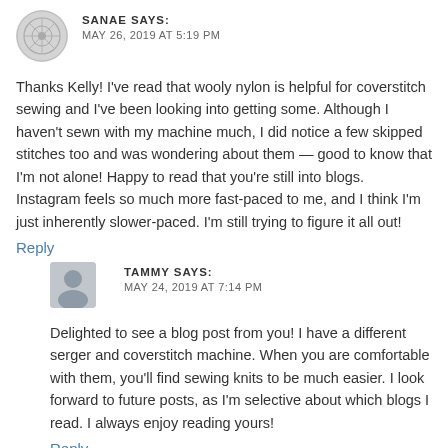[Figure (illustration): Circular avatar icon for user Sanae with decorative pattern]
SANAE SAYS:
MAY 26, 2019 AT 5:19 PM
Thanks Kelly! I've read that wooly nylon is helpful for coverstitch sewing and I've been looking into getting some. Although I haven't sewn with my machine much, I did notice a few skipped stitches too and was wondering about them — good to know that I'm not alone! Happy to read that you're still into blogs. Instagram feels so much more fast-paced to me, and I think I'm just inherently slower-paced. I'm still trying to figure it all out!
Reply
[Figure (illustration): Generic grey silhouette avatar icon for user Tammy]
TAMMY SAYS:
MAY 24, 2019 AT 7:14 PM
Delighted to see a blog post from you! I have a different serger and coverstitch machine. When you are comfortable with them, you'll find sewing knits to be much easier. I look forward to future posts, as I'm selective about which blogs I read. I always enjoy reading yours!
Reply